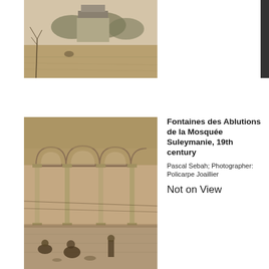[Figure (photo): Black and white photograph of an outdoor landscape with a large monument or structure in the background, surrounded by sparse trees and open ground.]
[Figure (photo): Sepia-toned photograph of the ablution fountains of the Süleymaniye Mosque, showing ornate arched colonnade with columns and figures in the foreground.]
Fontaines des Ablutions de la Mosquée Suleymanie, 19th century
Pascal Sebah; Photographer: Policarpe Joaillier
Not on View